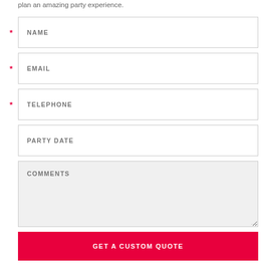plan an amazing party experience.
* NAME (required field)
* EMAIL (required field)
* TELEPHONE (required field)
PARTY DATE
COMMENTS
GET A CUSTOM QUOTE